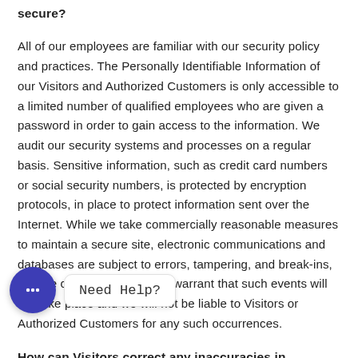secure?
All of our employees are familiar with our security policy and practices. The Personally Identifiable Information of our Visitors and Authorized Customers is only accessible to a limited number of qualified employees who are given a password in order to gain access to the information. We audit our security systems and processes on a regular basis. Sensitive information, such as credit card numbers or social security numbers, is protected by encryption protocols, in place to protect information sent over the Internet. While we take commercially reasonable measures to maintain a secure site, electronic communications and databases are subject to errors, tampering, and break-ins, and we cannot guarantee or warrant that such events will not take place and we will not be liable to Visitors or Authorized Customers for any such occurrences.
How can Visitors correct any inaccuracies in Personally Identifiable Information?
Visitors and Authorized Customers may contact us to update Personally Identifiable Information about them or to correct any